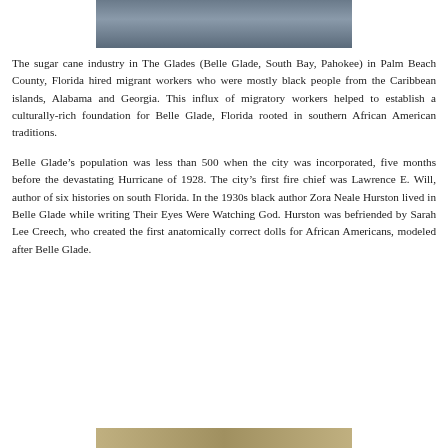[Figure (photo): Top portion of a photo showing a person, cropped at the bottom of the image — only the lower body/legs visible at top of page]
The sugar cane industry in The Glades (Belle Glade, South Bay, Pahokee) in Palm Beach County, Florida hired migrant workers who were mostly black people from the Caribbean islands, Alabama and Georgia. This influx of migratory workers helped to establish a culturally-rich foundation for Belle Glade, Florida rooted in southern African American traditions.
Belle Glade’s population was less than 500 when the city was incorporated, five months before the devastating Hurricane of 1928. The city’s first fire chief was Lawrence E. Will, author of six histories on south Florida. In the 1930s black author Zora Neale Hurston lived in Belle Glade while writing Their Eyes Were Watching God. Hurston was befriended by Sarah Lee Creech, who created the first anatomically correct dolls for African Americans, modeled after Belle Glade.
[Figure (photo): Bottom portion of another photo, partially visible at the bottom of the page]